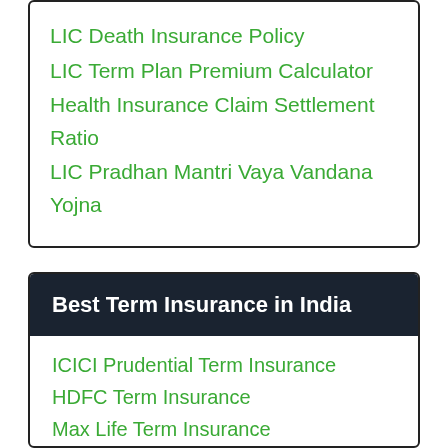LIC Death Insurance Policy
LIC Term Plan Premium Calculator
Health Insurance Claim Settlement Ratio
LIC Pradhan Mantri Vaya Vandana Yojna
Best Term Insurance in India
ICICI Prudential Term Insurance
HDFC Term Insurance
Max Life Term Insurance
SBI Term Insurance
Bajaj Allianz Term Insurance
Kotak Term Insurance
Aditya Birla Sun Life Term Insurance
TATA AIA Term Insurance
PNB MetLife Term Insurance
Aegon Life Term Insurance
Bharti AXA Term Insurance